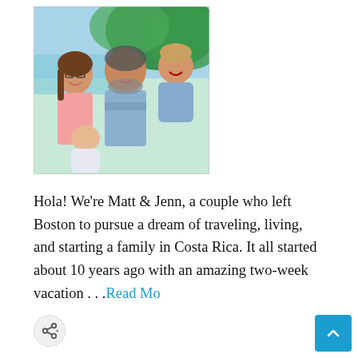[Figure (photo): Family photo of Matt and Jenn with two young children (a baby and a toddler), smiling outdoors with green trees and water in the background]
Hola! We’re Matt & Jenn, a couple who left Boston to pursue a dream of traveling, living, and starting a family in Costa Rica. It all started about 10 years ago with an amazing two-week vacation . . . Read Mo’